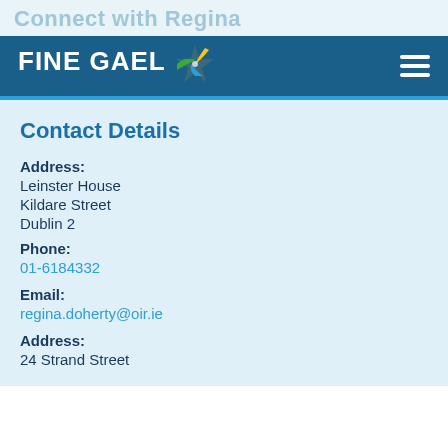Connect with Regina
[Figure (logo): Fine Gael logo with star icon and hamburger menu icon on blue background]
Contact Details
Address:
Leinster House
Kildare Street
Dublin 2
Phone:
01-6184332
Email:
regina.doherty@oir.ie
Address:
24 Strand Street